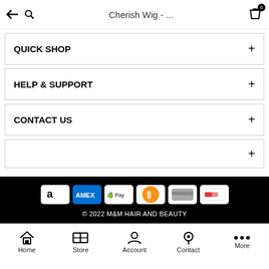← 🔍  Cherish Wig - ...  🛍 0
QUICK SHOP +
HELP & SUPPORT +
CONTACT US +
+
[Figure (other): Payment method icons: Amazon Pay, American Express, Apple Pay, Bitcoin, generic card, and another card brand on a black footer background]
© 2022 M&M HAIR AND BEAUTY
Home  Store  Account  Contact  More